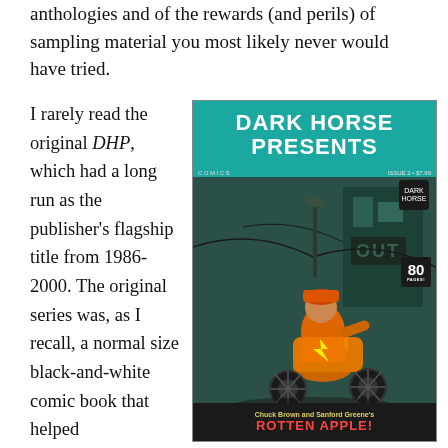anthologies and of the rewards (and perils) of sampling material you most likely never would have tried.
I rarely read the original DHP, which had a long run as the publisher's flagship title from 1986-2000. The original series was, as I recall, a normal size black-and-white comic book that helped
[Figure (illustration): Cover of Dark Horse Presents comic book issue 2, showing a motorcycle rider in orange jacket with chuck Brown and Sanford Greene's Rotten Apple title, teal header with Dark Horse Presents logo, 80 pages badge.]